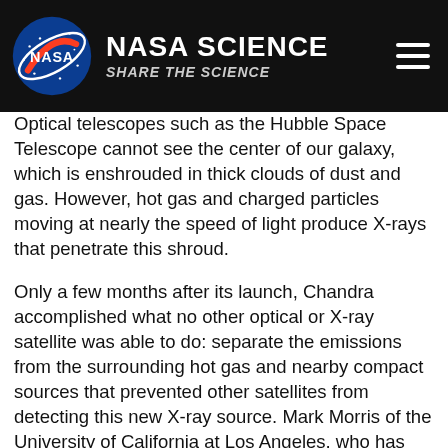NASA SCIENCE | SHARE THE SCIENCE
Optical telescopes such as the Hubble Space Telescope cannot see the center of our galaxy, which is enshrouded in thick clouds of dust and gas. However, hot gas and charged particles moving at nearly the speed of light produce X-rays that penetrate this shroud.
Only a few months after its launch, Chandra accomplished what no other optical or X-ray satellite was able to do: separate the emissions from the surrounding hot gas and nearby compact sources that prevented other satellites from detecting this new X-ray source. Mark Morris of the University of California at Los Angeles, who has studied this region intensely for 20 years, called Chandra's data "a gold mine" for astronomers.
"With more observing time on Chandra in the next two or three years, we will be able to build up a spectrum that will allow us to rule out various